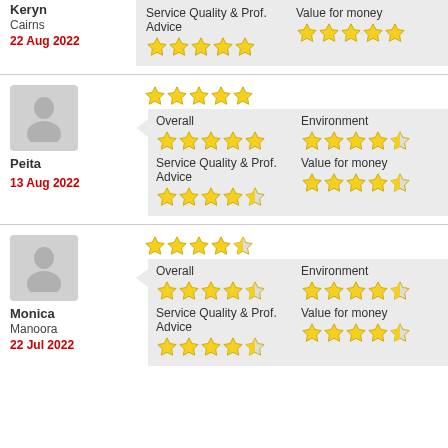Keryn
Cairns
22 Aug 2022
[Figure (infographic): Star ratings panel for Keryn: Overall 5 stars, Environment 5 stars, Service Quality & Prof. Advice 5 stars, Value for money 5 stars]
Peita
13 Aug 2022
[Figure (infographic): Star ratings panel for Peita: Overall 5 stars, Environment 4.5 stars, Service Quality & Prof. Advice 4.5 stars, Value for money 4.5 stars]
Monica
Manoora
22 Jul 2022
[Figure (infographic): Star ratings panel for Monica: Overall 4.5 stars, Environment 4.5 stars, Service Quality & Prof. Advice 4 stars, Value for money 4.5 stars]